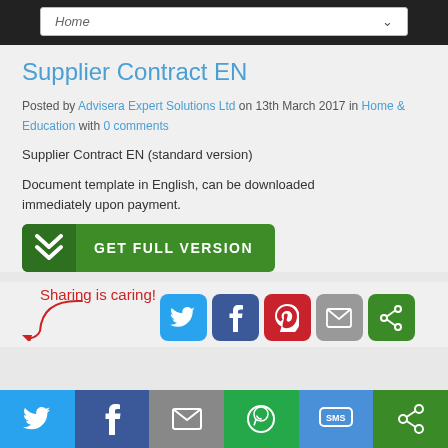Home
Supplier Contract EN
Posted by Advisera Expert Solutions Ltd on 13th March 2017 in Home & Education with 0 comments
Supplier Contract EN (standard version)
Document template in English, can be downloaded immediately upon payment.
[Figure (other): Green GET FULL VERSION download button with chevron icon]
[Figure (infographic): Sharing is caring! text with arrow and social media icons: Twitter, Facebook, Pinterest, Email, Other]
[Figure (infographic): Bottom social sharing bar with Twitter, Facebook, Email, WhatsApp, SMS, Other icons]